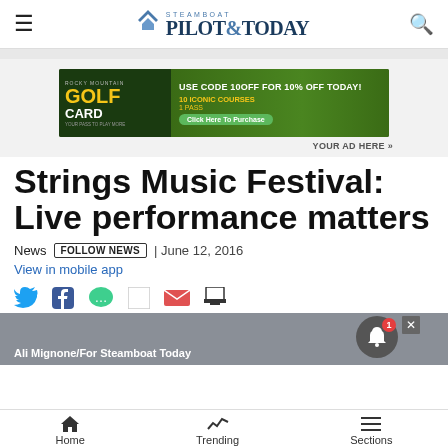Steamboat Pilot & Today
[Figure (illustration): Rocky Mountain Golf Card advertisement banner: USE CODE 10OFF FOR 10% OFF TODAY! 10 ICONIC COURSES 1 PASS - Click Here To Purchase]
YOUR AD HERE »
Strings Music Festival: Live performance matters
News  FOLLOW NEWS  | June 12, 2016
View in mobile app
Ali Mignone/For Steamboat Today
Home  Trending  Sections